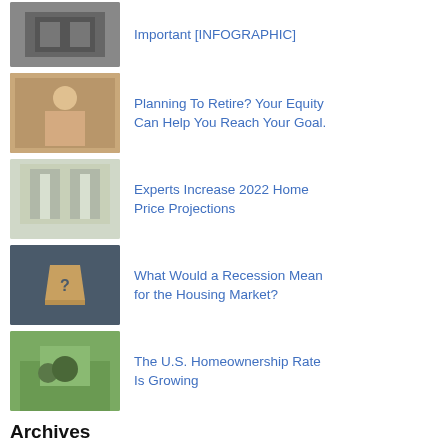Important [INFOGRAPHIC]
Planning To Retire? Your Equity Can Help You Reach Your Goal.
Experts Increase 2022 Home Price Projections
What Would a Recession Mean for the Housing Market?
The U.S. Homeownership Rate Is Growing
Archives
August 2022
July 2022
June 2022